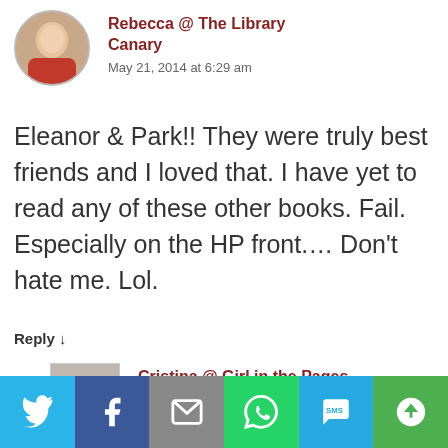Rebecca @ The Library Canary
May 21, 2014 at 6:29 am
Eleanor & Park!! They were truly best friends and I loved that. I have yet to read any of these other books. Fail. Especially on the HP front.... Don't hate me. Lol.
Reply ↓
[Figure (photo): Profile photo of Cristina]
Cristina @ Girl in the Pages
May 20, 2014 at 11:11 pm